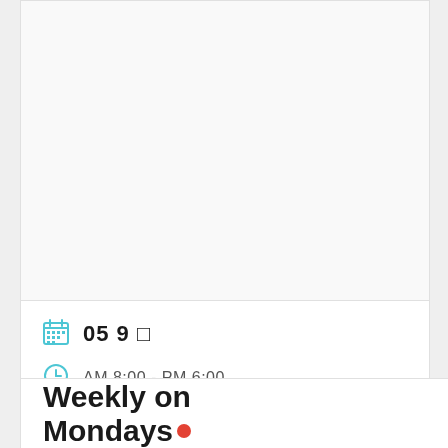05 9 □
AM 8:00 - PM 6:00
VIEW DETAIL
Weekly on Mondays●